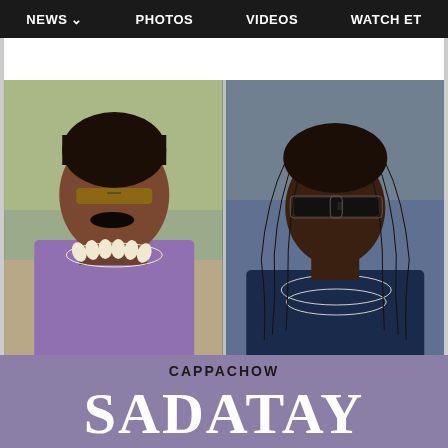NEWS ∨  PHOTOS  VIDEOS  WATCH ET
and I can't unsee it now.
[Figure (photo): Side-by-side comparison photo: left shows a man with sunglasses, mustache, and shell necklace wearing a purple shirt; right shows a man with long dreadlocks, dark sunglasses, and a large chain necklace.]
CAPPACHOW
SADATAY